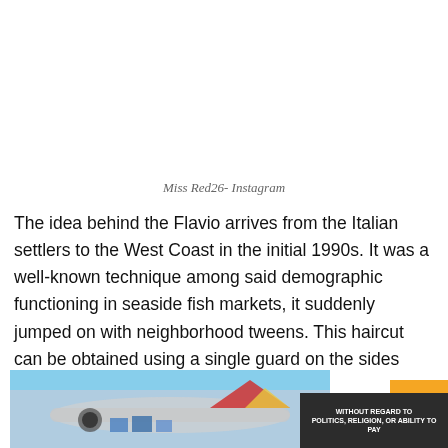Miss Red26- Instagram
The idea behind the Flavio arrives from the Italian settlers to the West Coast in the initial 1990s. It was a well-known technique among said demographic functioning in seaside fish markets, it suddenly jumped on with neighborhood tweens. This haircut can be obtained using a single guard on the sides along with a pizza cutter on the neckline.
[Figure (photo): Advertisement banner showing a cargo airplane being loaded, with an overlay reading WITHOUT REGARD TO in bold white text on dark background]